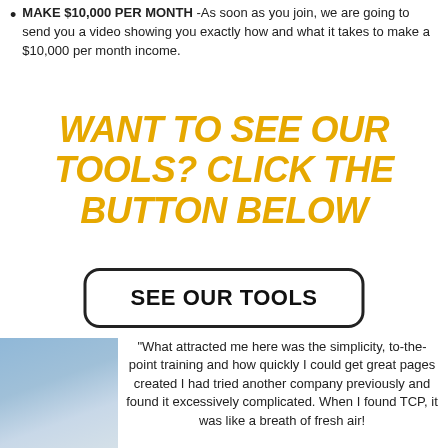MAKE $10,000 PER MONTH -As soon as you join, we are going to send you a video showing you exactly how and what it takes to make a $10,000 per month income.
WANT TO SEE OUR TOOLS? CLICK THE BUTTON BELOW
SEE OUR TOOLS
"What attracted me here was the simplicity, to-the-point training and how quickly I could get great pages created I had tried another company previously and found it excessively complicated. When I found TCP, it was like a breath of fresh air!
[Figure (photo): Photo of a man outdoors with buildings in the background]